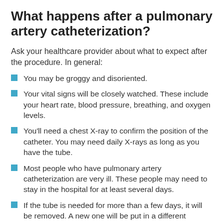What happens after a pulmonary artery catheterization?
Ask your healthcare provider about what to expect after the procedure. In general:
You may be groggy and disoriented.
Your vital signs will be closely watched. These include your heart rate, blood pressure, breathing, and oxygen levels.
You'll need a chest X-ray to confirm the position of the catheter. You may need daily X-rays as long as you have the tube.
Most people who have pulmonary artery catheterization are very ill. These people may need to stay in the hospital for at least several days.
If the tube is needed for more than a few days, it will be removed. A new one will be put in a different